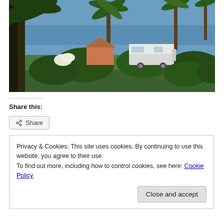[Figure (photo): Outdoor scene with palm trees and lush green vegetation in a camping or garden area. A white van/motorhome is visible in the background, with the sea and blue sky visible on the horizon.]
Share this:
Share
Privacy & Cookies: This site uses cookies. By continuing to use this website, you agree to their use.
To find out more, including how to control cookies, see here: Cookie Policy
Close and accept